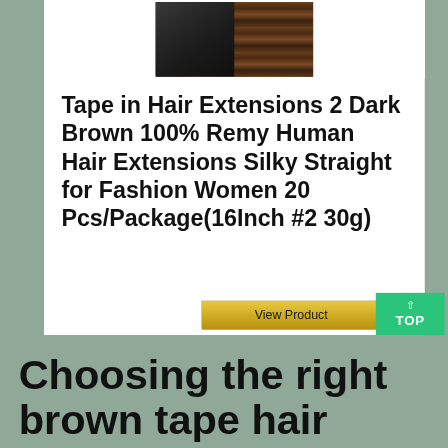[Figure (photo): Product photo of dark brown hair extensions showing a woman with layered brown hair on the left and tape-in hair extension strips on the right]
Tape in Hair Extensions 2 Dark Brown 100% Remy Human Hair Extensions Silky Straight for Fashion Women 20 Pcs/Package(16Inch #2 30g)
View Product
Choosing the right brown tape hair